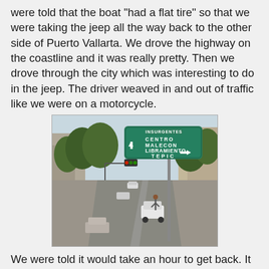were told that the boat "had a flat tire" so that we were taking the jeep all the way back to the other side of Puerto Vallarta. We drove the highway on the coastline and it was really pretty. Then we drove through the city which was interesting to do in the jeep. The driver weaved in and out of traffic like we were on a motorcycle.
[Figure (photo): Street scene in Puerto Vallarta showing a busy urban road with vehicles, trees lining the sides, traffic lights, and a large green road sign overhead reading INSURGENTES with arrows pointing to CENTRO, MALECON, LIBRAMIENTO, and TEPIC.]
We were told it would take an hour to get back. It took almost 2. We saw some interesting things but were so tired of being on that jeep. We were very happy to get back to where our day had started and hop in a cab for the short 5 minute ride to our resort.